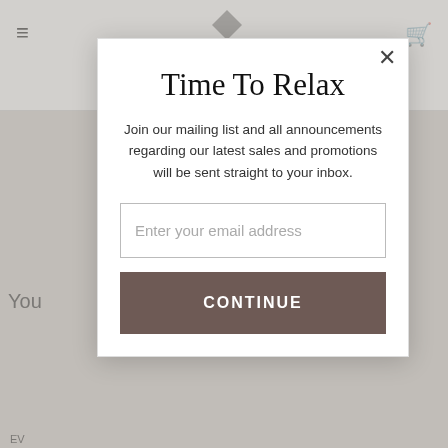[Figure (screenshot): Website header background with hamburger menu icon on left, cart icon on right, and a diamond logo shape in the center top area. Partially visible page content showing 'Yo' text and a product image/text in the background.]
Time To Relax
Join our mailing list and all announcements regarding our latest sales and promotions will be sent straight to your inbox.
Enter your email address
CONTINUE